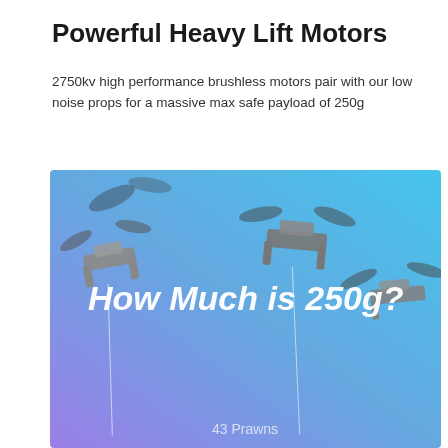Powerful Heavy Lift Motors
2750kv high performance brushless motors pair with our low noise props for a massive max safe payload of 250g
[Figure (photo): Photo of multiple drones flying against a blue-to-purple gradient background, with the text 'How Much is 250g?' overlaid in white bold italic, and '43 Prawns' text at the bottom center.]